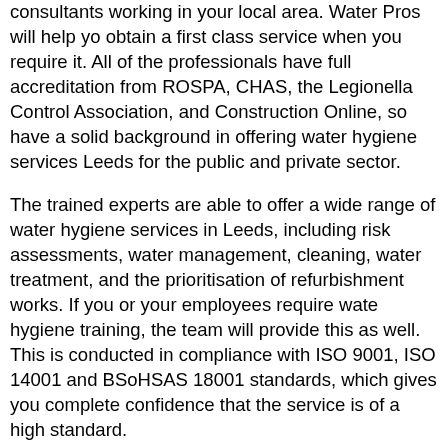consultants working in your local area. Water Pros will help you obtain a first class service when you require it. All of the professionals have full accreditation from ROSPA, CHAS, the Legionella Control Association, and Construction Online, so have a solid background in offering water hygiene services Leeds for the public and private sector.
The trained experts are able to offer a wide range of water hygiene services in Leeds, including risk assessments, water management, cleaning, water treatment, and the prioritisation of refurbishment works. If you or your employees require water hygiene training, the team will provide this as well. This is conducted in compliance with ISO 9001, ISO 14001 and BSoHSAS 18001 standards, which gives you complete confidence that the service is of a high standard.
From one time services to long term contracts, the experts can cater to your individual requirements. This means that you get real value for money, and meet your legal obligations such as ACoP L8, Health and Safety at Work Act and HSE 274 part 2 and the Water Supply (Water Fittings) Regulations.
The team offer a variety of service that not only help you to comply with UK legislation on water safety, but will also help you to save money. Using remote monitoring techniques, the